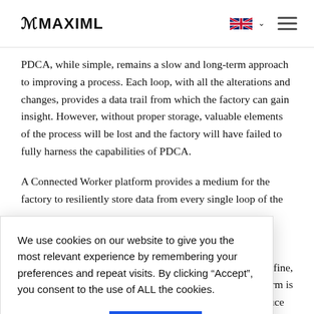MMAXIML
PDCA, while simple, remains a slow and long-term approach to improving a process. Each loop, with all the alterations and changes, provides a data trail from which the factory can gain insight. However, without proper storage, valuable elements of the process will be lost and the factory will have failed to fully harness the capabilities of PDCA.
A Connected Worker platform provides a medium for the factory to resiliently store data from every single loop of the [PDCA cycle. The data can be analyzed using machine learning or artificial intelligence to generate additional value.]
We use cookies on our website to give you the most relevant experience by remembering your preferences and repeat visits. By clicking “Accept”, you consent to the use of ALL the cookies.
Cookie settings  ACCEPT
[...factories define, ...ur platform is fitted to solve hundreds of use-cases to save time and reduce